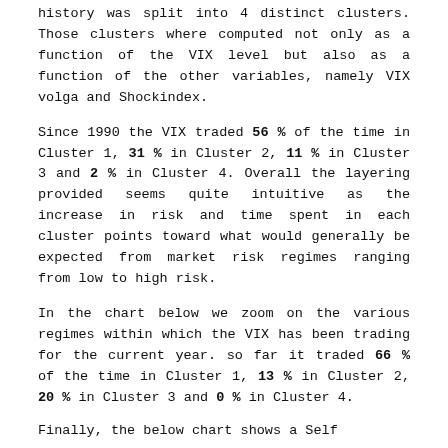history was split into 4 distinct clusters. Those clusters where computed not only as a function of the VIX level but also as a function of the other variables, namely VIX volga and Shockindex.
Since 1990 the VIX traded 56 % of the time in Cluster 1, 31 % in Cluster 2, 11 % in Cluster 3 and 2 % in Cluster 4. Overall the layering provided seems quite intuitive as the increase in risk and time spent in each cluster points toward what would generally be expected from market risk regimes ranging from low to high risk.
In the chart below we zoom on the various regimes within which the VIX has been trading for the current year. so far it traded 66 % of the time in Cluster 1, 13 % in Cluster 2, 20 % in Cluster 3 and 0 % in Cluster 4.
Finally, the below chart shows a Self